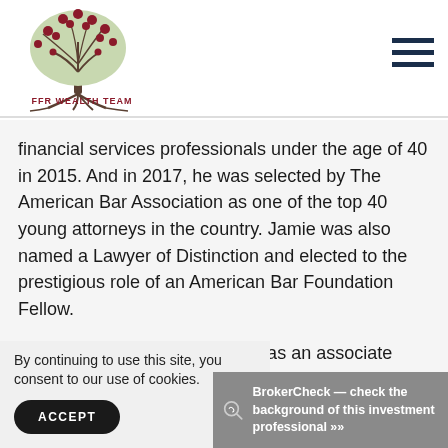[Figure (logo): FFR Wealth Team logo — stylized tree with red berries and exposed roots, with text 'FFR WEALTH TEAM' below in dark red]
financial services professionals under the age of 40 in 2015. And in 2017, he was selected by The American Bar Association as one of the top 40 young attorneys in the country. Jamie was also named a Lawyer of Distinction and elected to the prestigious role of an American Bar Foundation Fellow.
Before joining Carson, Jamie was an associate professor of ta... Re... Ne...
By continuing to use this site, you consent to our use of cookies.
BrokerCheck — check the background of this investment professional »»